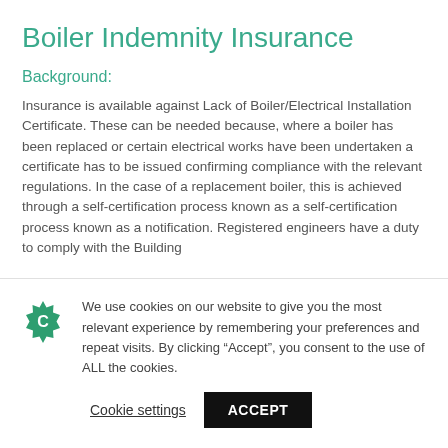Boiler Indemnity Insurance
Background:
Insurance is available against Lack of Boiler/Electrical Installation Certificate. These can be needed because, where a boiler has been replaced or certain electrical works have been undertaken a certificate has to be issued confirming compliance with the relevant regulations. In the case of a replacement boiler, this is achieved through a self-certification process known as a notification. Registered engineers have a duty to comply with the Building
We use cookies on our website to give you the most relevant experience by remembering your preferences and repeat visits. By clicking “Accept”, you consent to the use of ALL the cookies.
Cookie settings  ACCEPT